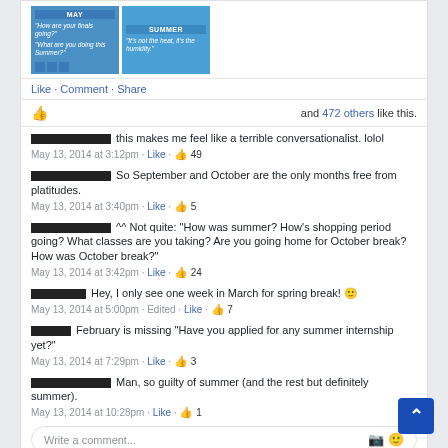[Figure (screenshot): Facebook post image showing two panels labeled MAY and SUMMER with quote bubbles on blue backgrounds]
Like · Comment · Share
and 472 others like this.
[redacted] this makes me feel like a terrible conversationalist. lolol
May 13, 2014 at 3:12pm · Like · 49
[redacted] So September and October are the only months free from platitudes.
May 13, 2014 at 3:40pm · Like · 5
[redacted] ^^ Not quite: "How was summer? How's shopping period going? What classes are you taking? Are you going home for October break? How was October break?"
May 13, 2014 at 3:42pm · Like · 24
[redacted] Hey, I only see one week in March for spring break! 🙂
May 13, 2014 at 5:00pm · Edited · Like · 7
[redacted] February is missing "Have you applied for any summer internship yet?"
May 13, 2014 at 7:29pm · Like · 3
[redacted] Man, so guilty of summer (and the rest but definitely summer).
May 13, 2014 at 10:28pm · Like · 1